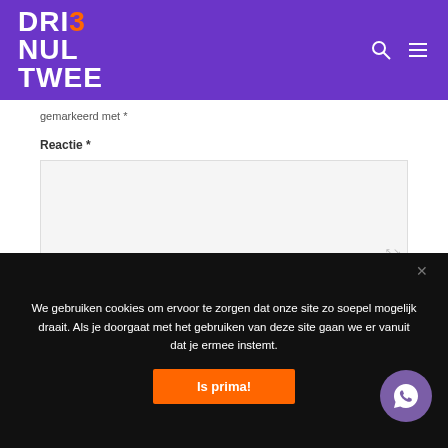[Figure (logo): DRI3 NUL TWEE logo in white and orange text on purple background, with search and hamburger menu icons on the right]
gemarkeerd met *
Reactie *
[Figure (screenshot): Empty textarea input box with resize handle]
We gebruiken cookies om ervoor te zorgen dat onze site zo soepel mogelijk draait. Als je doorgaat met het gebruiken van deze site gaan we er vanuit dat je ermee instemt.
Is prima!